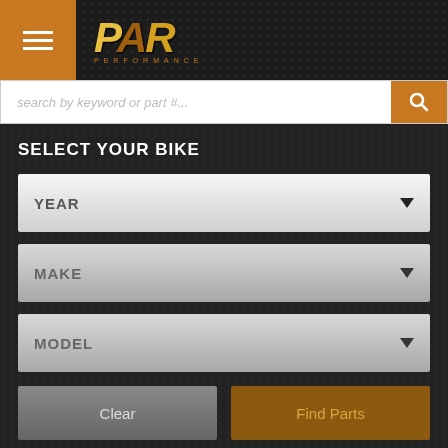[Figure (screenshot): Website header with hamburger menu button, PAR Performance logo in gold italic text]
[Figure (screenshot): Search bar with placeholder text 'search by keyword or part #...' and orange search button]
SELECT YOUR BIKE
[Figure (screenshot): YEAR dropdown selector (light gradient background)]
[Figure (screenshot): MAKE dropdown selector (grey gradient background)]
[Figure (screenshot): MODEL dropdown selector (grey gradient background)]
[Figure (screenshot): Clear and Find Parts buttons]
Home - Return to Previous Page
[Figure (logo): Grosseto brand logo in red italic text at bottom of page]